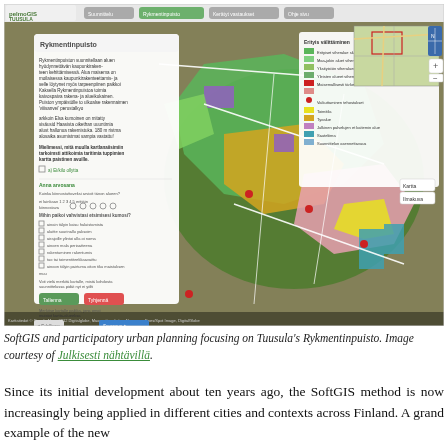[Figure (screenshot): Screenshot of SoftGIS web application showing participatory urban planning for Tuusula's Rykmentinpuisto. The interface shows an aerial/satellite map with colored land-use zones overlaid, a survey panel on the left with Finnish-language questions, a legend panel on the right, and a small inset map in the upper right corner. The application header shows 'pelmoGIS TUUSULA' branding.]
SoftGIS and participatory urban planning focusing on Tuusula's Rykmentinpuisto. Image courtesy of Julkisesti nähtävillä.
Since its initial development about ten years ago, the SoftGIS method is now increasingly being applied in different cities and contexts across Finland. A grand example of the new